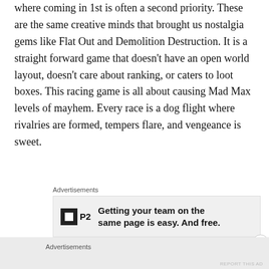where coming in 1st is often a second priority. These are the same creative minds that brought us nostalgia gems like Flat Out and Demolition Destruction. It is a straight forward game that doesn't have an open world layout, doesn't care about ranking, or caters to loot boxes. This racing game is all about causing Mad Max levels of mayhem. Every race is a dog flight where rivalries are formed, tempers flare, and vengeance is sweet.
Advertisements
[Figure (other): Advertisement banner for P2 with text: Getting your team on the same page is easy. And free.]
Advertisements